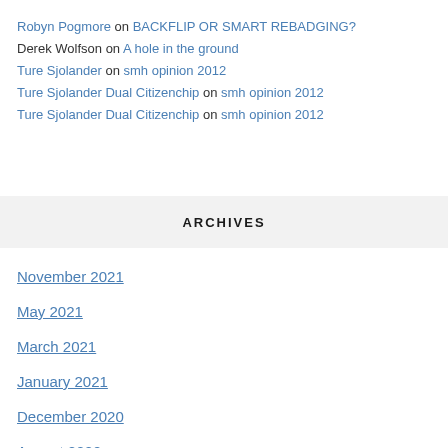Robyn Pogmore on BACKFLIP OR SMART REBADGING?
Derek Wolfson on A hole in the ground
Ture Sjolander on smh opinion 2012
Ture Sjolander Dual Citizenchip on smh opinion 2012
Ture Sjolander Dual Citizenchip on smh opinion 2012
ARCHIVES
November 2021
May 2021
March 2021
January 2021
December 2020
August 2020